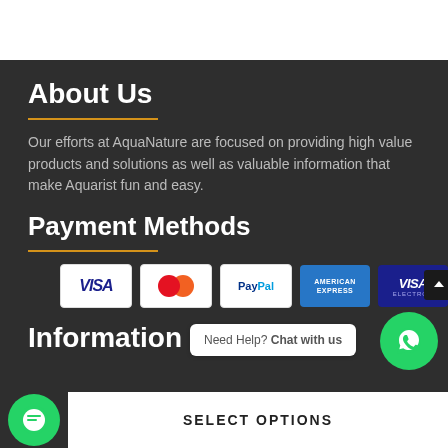About Us
Our efforts at AquaNature are focused on providing high value products and solutions as well as valuable information that make Aquarist fun and easy.
Payment Methods
[Figure (other): Payment method icons: Visa, Mastercard, PayPal, American Express, Visa Electron]
Information
Need Help? Chat with us
SELECT OPTIONS